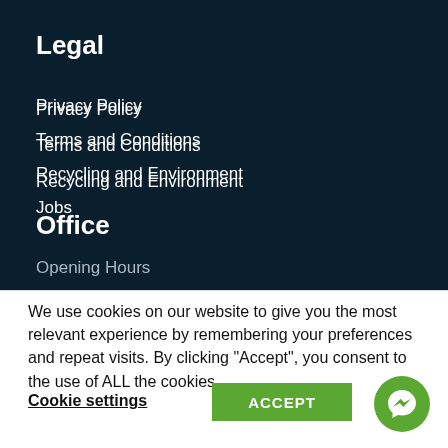Legal
Privacy Policy
Terms and Conditions
Recycling and Environment
Jobs
Office
Opening Hours
We use cookies on our website to give you the most relevant experience by remembering your preferences and repeat visits. By clicking “Accept”, you consent to the use of ALL the cookies.
Cookie settings
ACCEPT